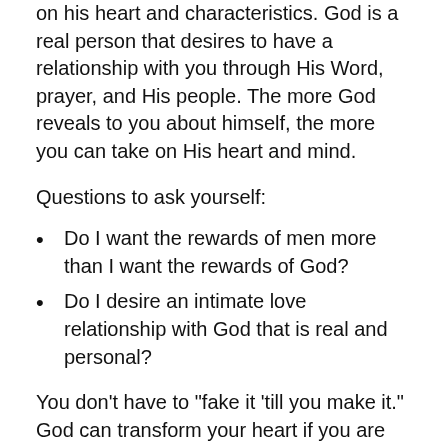on his heart and characteristics. God is a real person that desires to have a relationship with you through His Word, prayer, and His people. The more God reveals to you about himself, the more you can take on His heart and mind.
Questions to ask yourself:
Do I want the rewards of men more than I want the rewards of God?
Do I desire an intimate love relationship with God that is real and personal?
You don’t have to “fake it ‘till you make it.” God can transform your heart if you are willing to let him in.
This class was derived from the Course entitled